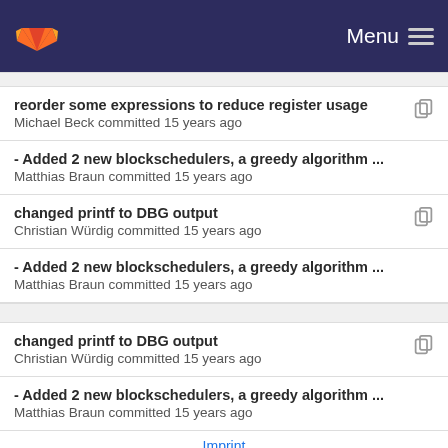GitLab Menu
reorder some expressions to reduce register usage
Michael Beck committed 15 years ago
- Added 2 new blockschedulers, a greedy algorithm ...
Matthias Braun committed 15 years ago
changed printf to DBG output
Christian Würdig committed 15 years ago
- Added 2 new blockschedulers, a greedy algorithm ...
Matthias Braun committed 15 years ago
changed printf to DBG output
Christian Würdig committed 15 years ago
- Added 2 new blockschedulers, a greedy algorithm ...
Matthias Braun committed 15 years ago
Imprint